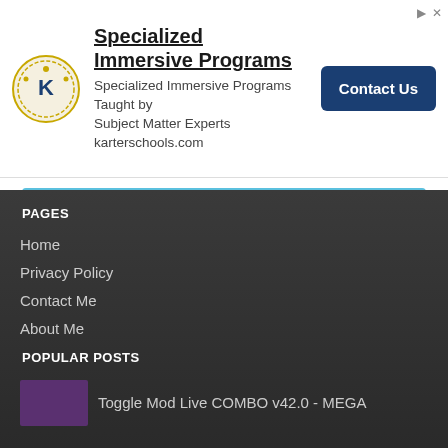[Figure (other): Advertisement banner for Karter Schools with logo, text, and Contact Us button]
Receiver Supports Windows, Linux, Mac...
Hey there, Today I've released the most advanced microphone app named as " Wireless MIC Advanced " in-short " WSMA &qu...
PAGES
Home
Privacy Policy
Contact Me
About Me
POPULAR POSTS
Toggle Mod Live COMBO v42.0 - MEGA